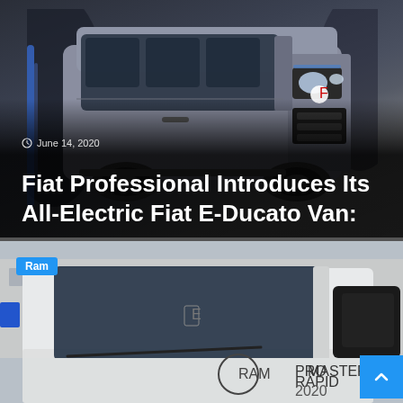[Figure (photo): Silver/grey Fiat E-Ducato electric van front three-quarter view against dark background with blue accent lighting]
June 14, 2020
Fiat Professional Introduces Its All-Electric Fiat E-Ducato Van:
[Figure (photo): White Ram ProMaster Rapid 2020 truck/van showing windshield, wiper, side mirror, with Ram logo badge visible on door]
Ram